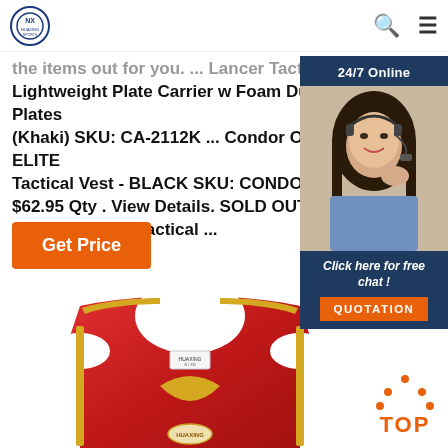HUAXING SPORTS
the items out for you. ... Lancer Tactical Lightweight Plate Carrier w Foam Dummy Plates (Khaki) SKU: CA-2112K ... Condor Outdoor ELITE Tactical Vest - BLACK SKU: CONDOR-B... $62.95 Qty . View Details. SOLD OUT. Outdoor ELITE Tactical ...
Get Price
[Figure (photo): Customer service representative woman with headset, chat widget with '24/7 Online' bar and 'Click here for free chat! QUOTATION' button]
[Figure (photo): Red and gold wrestling/boxing vest/singlet product image]
[Figure (other): TOP button with orange dots forming arrow/house shape above the word TOP]